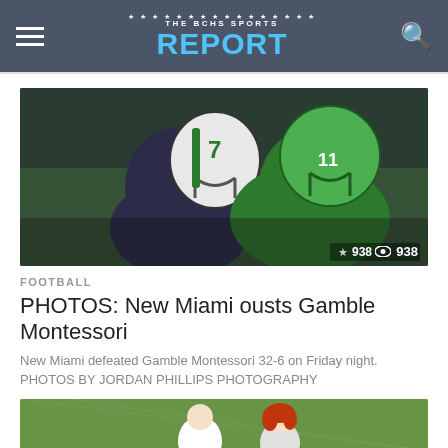THE BCHS SPORTS REPORT
[Figure (photo): Football action photo showing players in helmets colliding, one wearing number 7 in white/green and another in dark jersey, with number 11 visible in background. View count: 938]
FOOTBALL
PHOTOS: New Miami ousts Gamble Montessori
New Miami defeated Gamble Montessori 32-6 on Friday night. PHOTOS BY JORDAN PHILLIPS PHOTOGRAPHY
[Figure (photo): Soccer/sports photo showing players on a field with red track, one wearing a white jersey with 'AVES' visible and a girl with red hair. View count: 919]